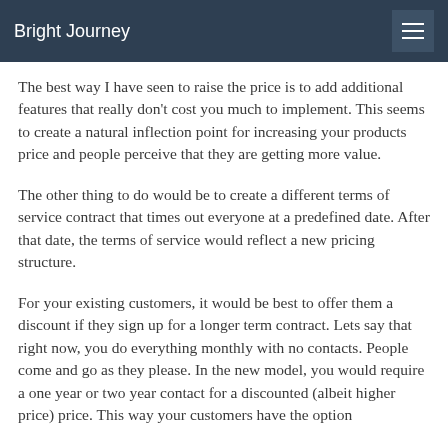Bright Journey
The best way I have seen to raise the price is to add additional features that really don't cost you much to implement. This seems to create a natural inflection point for increasing your products price and people perceive that they are getting more value.
The other thing to do would be to create a different terms of service contract that times out everyone at a predefined date. After that date, the terms of service would reflect a new pricing structure.
For your existing customers, it would be best to offer them a discount if they sign up for a longer term contract. Lets say that right now, you do everything monthly with no contacts. People come and go as they please. In the new model, you would require a one year or two year contact for a discounted (albeit higher price) price. This way your customers have the option